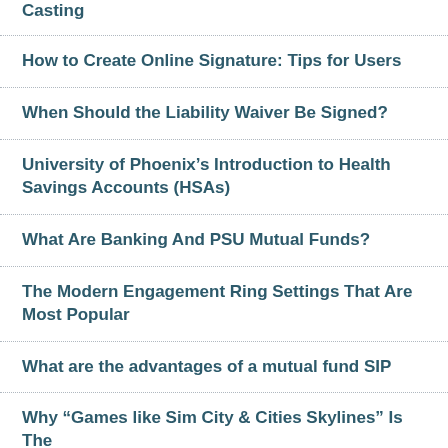Casting
How to Create Online Signature: Tips for Users
When Should the Liability Waiver Be Signed?
University of Phoenix’s Introduction to Health Savings Accounts (HSAs)
What Are Banking And PSU Mutual Funds?
The Modern Engagement Ring Settings That Are Most Popular
What are the advantages of a mutual fund SIP
Why “Games like Sim City & Cities Skylines” Is The